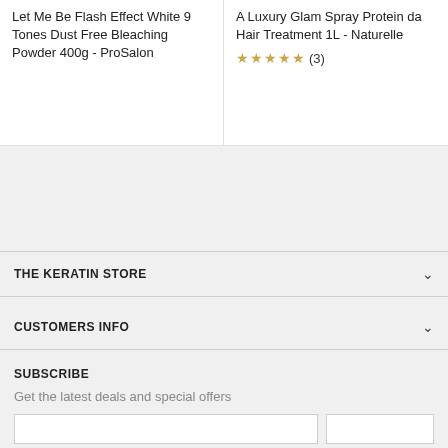Let Me Be Flash Effect White 9 Tones Dust Free Bleaching Powder 400g - ProSalon
A Luxury Glam Spray Protein da Hair Treatment 1L - Naturelle ★★★★★ (3)
THE KERATIN STORE
CUSTOMERS INFO
SUBSCRIBE
Get the latest deals and special offers